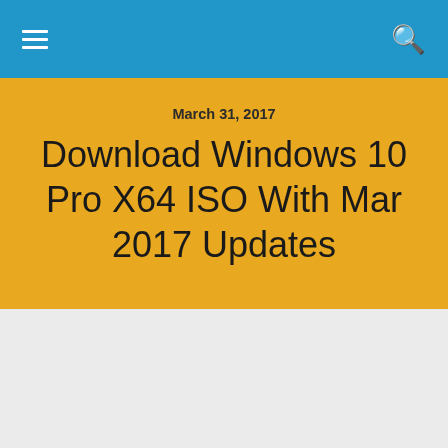≡  🔍
March 31, 2017
Download Windows 10 Pro X64 ISO With Mar 2017 Updates
Download Windows 10 Pro x64 ISO With Mar 2017 Updates Latest OEM RTM version. It is Full Bootable ISO